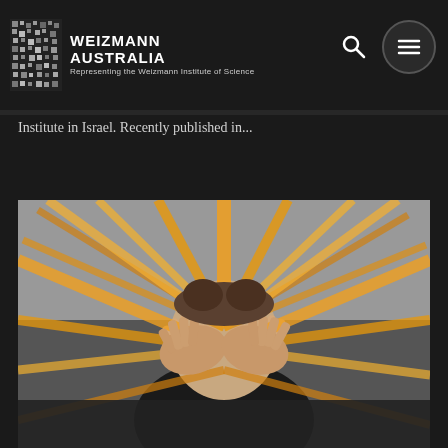WEIZMANN AUSTRALIA — Representing the Weizmann Institute of Science
Institute in Israel. Recently published in...
[Figure (photo): Person covering their face with hands surrounded by radiating light streaks in orange and gold tones against a grey background, artistic long-exposure style photograph.]